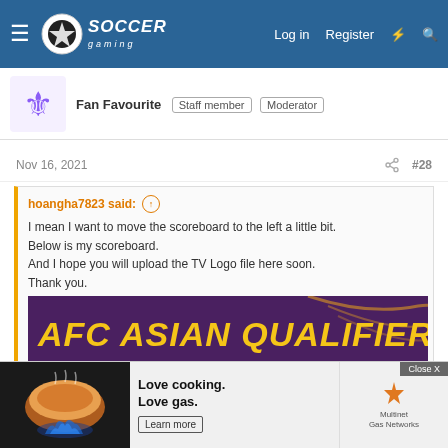Soccer Gaming — Log in  Register
Fan Favourite  Staff member  Moderator
Nov 16, 2021  #28
hoangha7823 said: ↑
I mean I want to move the scoreboard to the left a little bit.
Below is my scoreboard.
And I hope you will upload the TV Logo file here soon.
Thank you.
Click to expand...
[Figure (screenshot): AFC Asian Qualifiers scoreboard banner image with purple background and gold text, partially visible team panels below]
If you would like to move it to the left a bit, edit your '10' texture and left adjust the whole texture. If that is still not far enough, it will be necessary to edit the image container size to increase the area — clipping, dependi — d in the